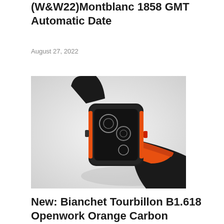(W&W22)Montblanc 1858 GMT Automatic Date
August 27, 2022
[Figure (photo): Bianchet Tourbillon B1.618 watch with orange and black rubber strap against light gray background]
New: Bianchet Tourbillon B1.618 Openwork Orange Carbon
August 25, 2022
[Figure (photo): Vintage chronograph watch with cream/tan dial face against dark background]